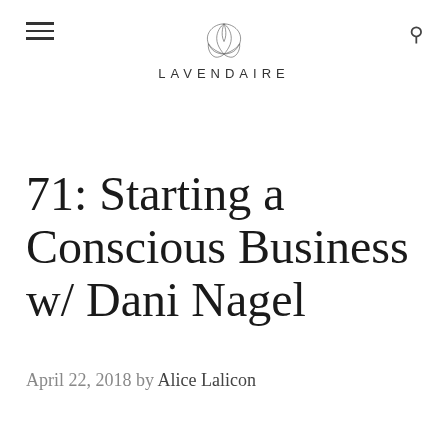LAVENDAIRE
71: Starting a Conscious Business w/ Dani Nagel
April 22, 2018 by Alice Lalicon